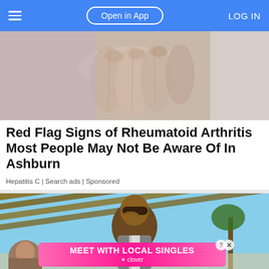Open in App | LOG IN
[Figure (photo): Close-up photo of hands showing fingers, likely depicting joint inflammation related to rheumatoid arthritis]
Red Flag Signs of Rheumatoid Arthritis Most People May Not Be Aware Of In Ashburn
Hepatitis C | Search ads | Sponsored
[Figure (photo): Man wearing sunglasses outdoors in a park-like setting with a 'MEET WITH LOCAL SINGLES - clover' advertisement banner overlay]